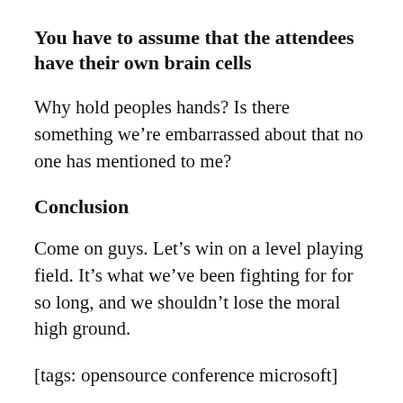You have to assume that the attendees have their own brain cells
Why hold peoples hands? Is there something we're embarrassed about that no one has mentioned to me?
Conclusion
Come on guys. Let's win on a level playing field. It's what we've been fighting for for so long, and we shouldn't lose the moral high ground.
[tags: opensource conference microsoft]